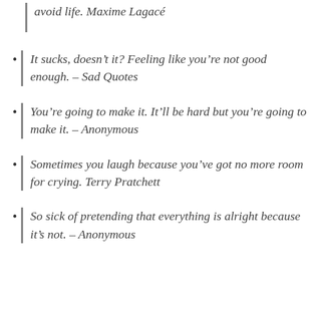avoid life. Maxime Lagacé
It sucks, doesn't it? Feeling like you're not good enough. – Sad Quotes
You're going to make it. It'll be hard but you're going to make it. – Anonymous
Sometimes you laugh because you've got no more room for crying. Terry Pratchett
So sick of pretending that everything is alright because it's not. – Anonymous